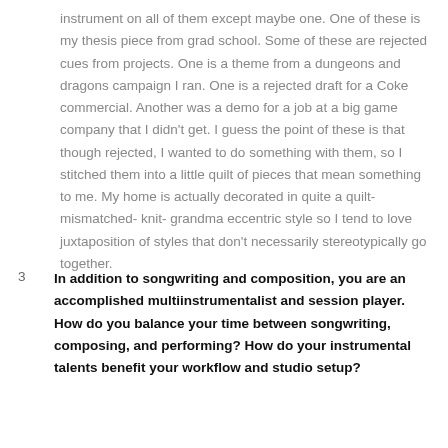instrument on all of them except maybe one. One of these is my thesis piece from grad school. Some of these are rejected cues from projects. One is a theme from a dungeons and dragons campaign I ran. One is a rejected draft for a Coke commercial. Another was a demo for a job at a big game company that I didn't get. I guess the point of these is that though rejected, I wanted to do something with them, so I stitched them into a little quilt of pieces that mean something to me. My home is actually decorated in quite a quilt- mismatched- knit- grandma eccentric style so I tend to love juxtaposition of styles that don't necessarily stereotypically go together.
3. In addition to songwriting and composition, you are an accomplished multiinstrumentalist and session player. How do you balance your time between songwriting, composing, and performing? How do your instrumental talents benefit your workflow and studio setup?